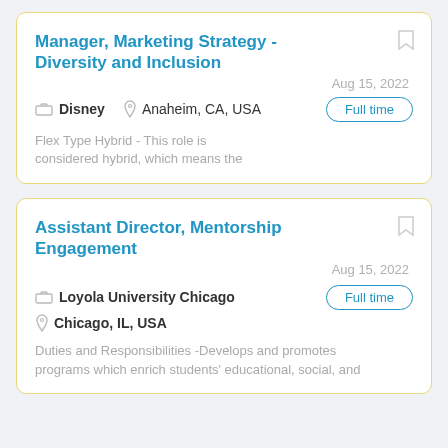Manager, Marketing Strategy - Diversity and Inclusion
Disney   Anaheim, CA, USA   Aug 15, 2022   Full time
Flex Type Hybrid  - This role is considered hybrid, which means the
Assistant Director, Mentorship Engagement
Loyola University Chicago   Chicago, IL, USA   Aug 15, 2022   Full time
Duties and Responsibilities -Develops and promotes programs which enrich students' educational, social, and